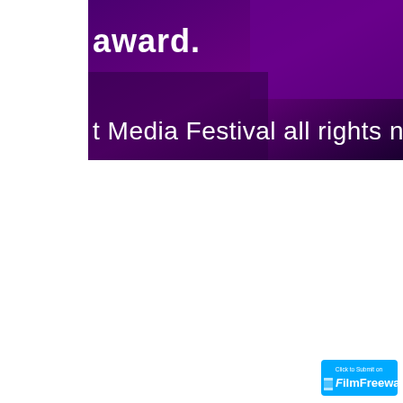[Figure (screenshot): Partial screenshot of a dark purple/violet background with white text. Visible text reads 'award.' on one line and 't Media Festival all rights necessar' on a lower line. The image is cropped, showing only the right portion of a wider layout. The background has a gradient from dark purple to deeper purple/black.]
[Figure (logo): FilmFreeway blue button logo in the bottom-right corner with text 'Click to Submit on FilmFreeway']